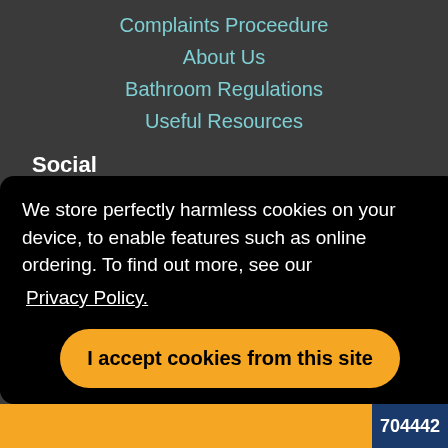Complaints Proceedure
About Us
Bathroom Regulations
Useful Resources
Social
Facebook
Twitter
Instagram
We store perfectly harmless cookies on your device, to enable features such as online ordering. To find out more, see our Privacy Policy.
I accept cookies from this site
01226 704442